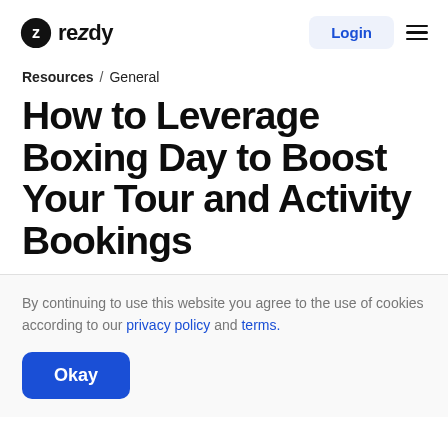rezdy — Login
Resources / General
How to Leverage Boxing Day to Boost Your Tour and Activity Bookings
By continuing to use this website you agree to the use of cookies according to our privacy policy and terms.
Okay